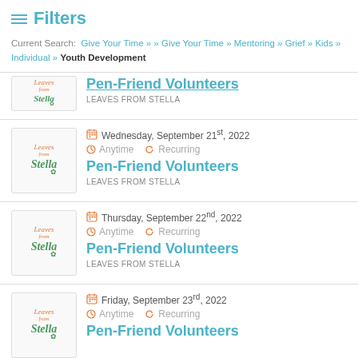≡ Filters
Current Search: Give Your Time » » Give Your Time » Mentoring » Grief » Kids » Individual » Youth Development
Pen-Friend Volunteers — LEAVES FROM STELLA (partial, top-cropped)
Wednesday, September 21st, 2022 | Anytime | Recurring | Pen-Friend Volunteers | LEAVES FROM STELLA
Thursday, September 22nd, 2022 | Anytime | Recurring | Pen-Friend Volunteers | LEAVES FROM STELLA
Friday, September 23rd, 2022 | Anytime | Recurring | Pen-Friend Volunteers